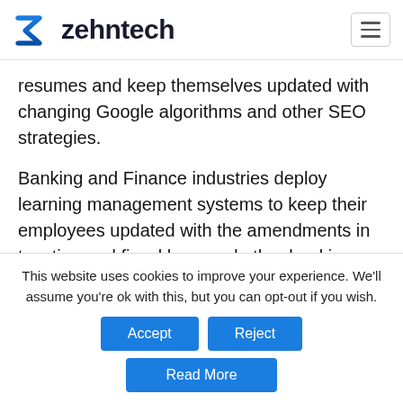zehntech
resumes and keep themselves updated with changing Google algorithms and other SEO strategies.
Banking and Finance industries deploy learning management systems to keep their employees updated with the amendments in taxation and fiscal laws and other banking regulations and policies.
This website uses cookies to improve your experience. We'll assume you're ok with this, but you can opt-out if you wish.
Accept
Reject
Read More